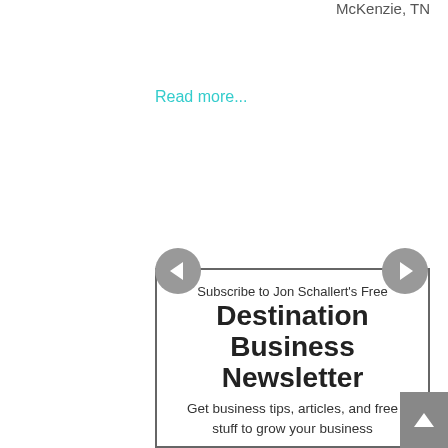McKenzie, TN
Read more...
Subscribe to Jon Schallert's Free Destination Business Newsletter
Get business tips, articles, and free stuff to grow your business
First Name:
Last Name:
Email: